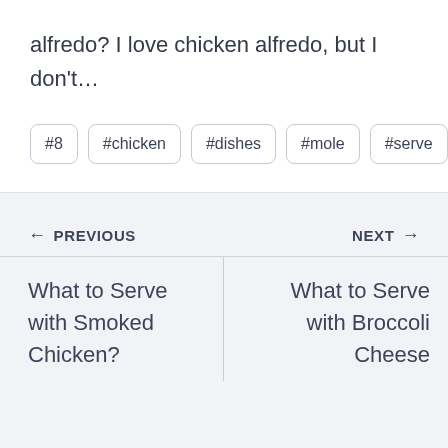alfredo? I love chicken alfredo, but I don't…
#8
#chicken
#dishes
#mole
#serve
← PREVIOUS
NEXT →
What to Serve with Smoked Chicken?
What to Serve with Broccoli Cheese